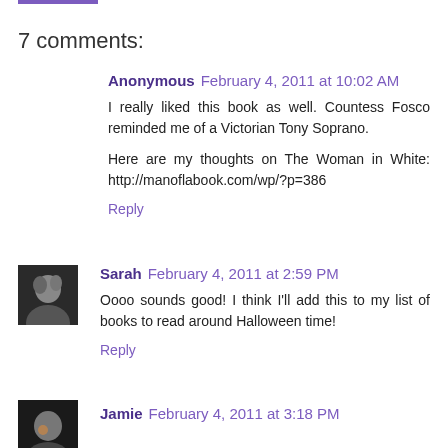7 comments:
Anonymous  February 4, 2011 at 10:02 AM
I really liked this book as well. Countess Fosco reminded me of a Victorian Tony Soprano.

Here are my thoughts on The Woman in White: http://manoflabook.com/wp/?p=386

Reply
Sarah  February 4, 2011 at 2:59 PM
Oooo sounds good! I think I'll add this to my list of books to read around Halloween time!

Reply
Jamie  February 4, 2011 at 3:18 PM